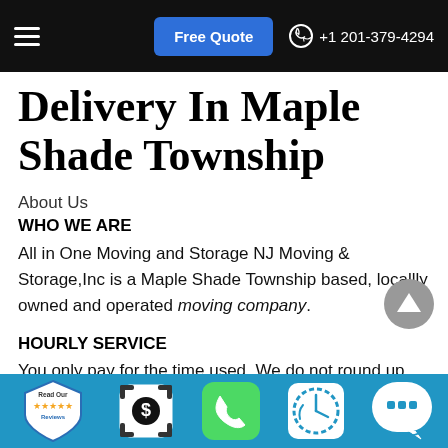Free Quote  +1 201-379-4294
Delivery In Maple Shade Township
About Us
WHO WE ARE
All in One Moving and Storage NJ Moving & Storage,Inc is a Maple Shade Township based, locallly owned and operated moving company.
HOURLY SERVICE
You only pay for the time used. We do not round up our
Read Our Reviews | $ | phone | clock | chat